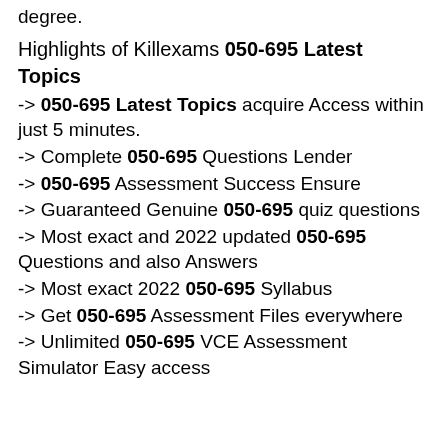degree.
Highlights of Killexams 050-695 Latest Topics
-> 050-695 Latest Topics acquire Access within just 5 minutes.
-> Complete 050-695 Questions Lender
-> 050-695 Assessment Success Ensure
-> Guaranteed Genuine 050-695 quiz questions
-> Most exact and 2022 updated 050-695 Questions and also Answers
-> Most exact 2022 050-695 Syllabus
-> Get 050-695 Assessment Files everywhere
-> Unlimited 050-695 VCE Assessment Simulator Easy access